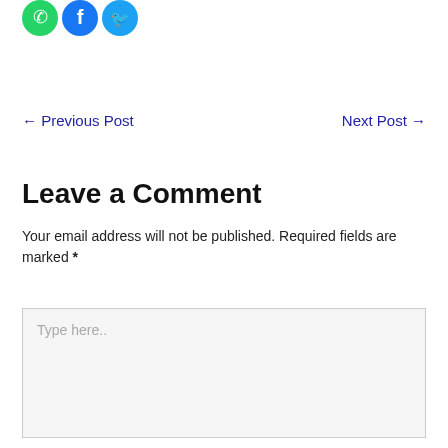[Figure (other): Social media share icons: WhatsApp (green), Facebook (blue), Twitter (blue)]
← Previous Post    Next Post →
Leave a Comment
Your email address will not be published. Required fields are marked *
Type here..